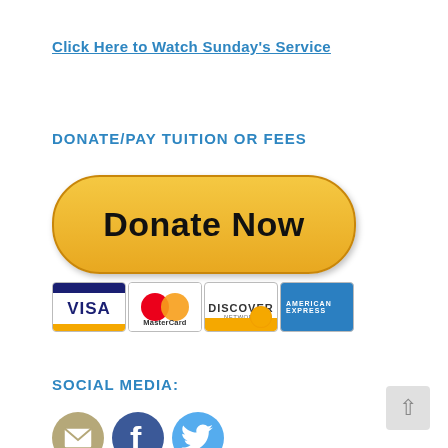Click Here to Watch Sunday’s Service
DONATE/PAY TUITION OR FEES
[Figure (illustration): Yellow rounded-rectangle 'Donate Now' button with credit card logos (Visa, MasterCard, Discover, American Express) below it]
SOCIAL MEDIA:
[Figure (illustration): Three circular social media icons: email (tan), Facebook (blue), Twitter (light blue)]